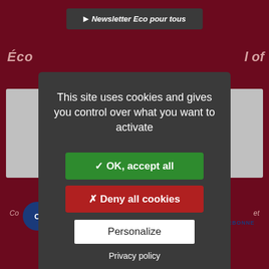[Figure (screenshot): Dark red website background with newsletter button, partial logo images, and footer text]
Newsletter Eco pour tous
Éco
l of
This site uses cookies and gives you control over what you want to activate
✓ OK, accept all
✗ Deny all cookies
Personalize
Privacy policy
Copyright © 2013 | Gestion des cookies | Mentions légales | Plan du site